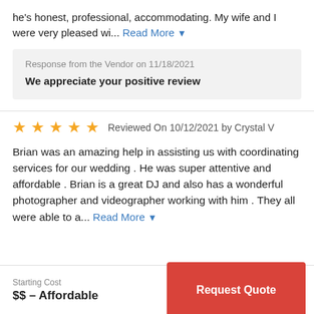he's honest, professional, accommodating. My wife and I were very pleased wi... Read More
Response from the Vendor on 11/18/2021
We appreciate your positive review
★★★★★ Reviewed On 10/12/2021 by Crystal V
Brian was an amazing help in assisting us with coordinating services for our wedding . He was super attentive and affordable . Brian is a great DJ and also has a wonderful photographer and videographer working with him . They all were able to a... Read More
Starting Cost
$$ – Affordable